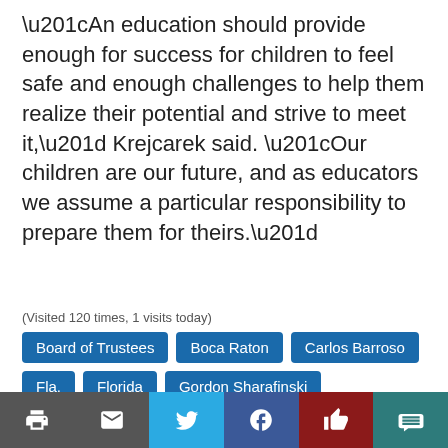“An education should provide enough for success for children to feel safe and enough challenges to help them realize their potential and strive to meet it,” Krejcarek said. “Our children are our future, and as educators we assume a particular responsibility to prepare them for theirs.”
(Visited 120 times, 1 visits today)
Board of Trustees
Boca Raton
Carlos Barroso
Fla.
Florida
Gordon Sharafinski
International Baccalaureate World School
Kate McMichael
Round Square Organization
Saint Andrew's School
Schools of the Sacred Heart
Print | Email | Twitter | Facebook | Like | Comment